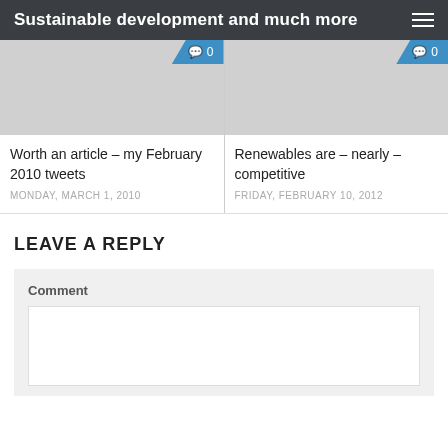Sustainable development and much more
[Figure (screenshot): Two article cards side by side. Left card: gray image placeholder with blue comment badge showing '0', title 'Worth an article – my February 2010 tweets', date 'MONDAY, MARCH 1, 2010'. Right card: gray image placeholder with blue comment badge showing '0', title 'Renewables are – nearly – competitive', date 'FRIDAY, FEBRUARY 10, 2012'.]
LEAVE A REPLY
Comment